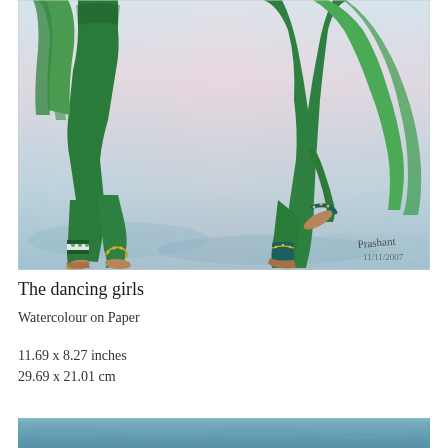[Figure (illustration): Watercolour painting of two dancing girls wearing green traditional Indian attire with decorative patterns, depicted from waist down, on a light blue/pink background. Artist signature visible in lower right corner.]
The dancing girls
Watercolour on Paper
11.69 x 8.27 inches
29.69 x 21.01 cm
[Figure (illustration): Partial view of a second artwork at the bottom of the page, showing blue tones.]